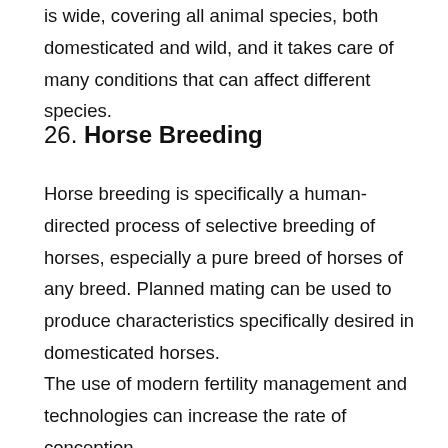is wide, covering all animal species, both domesticated and wild, and it takes care of many conditions that can affect different species.
26. Horse Breeding
Horse breeding is specifically a human-directed process of selective breeding of horses, especially a pure breed of horses of any breed. Planned mating can be used to produce characteristics specifically desired in domesticated horses.
The use of modern fertility management and technologies can increase the rate of conception,